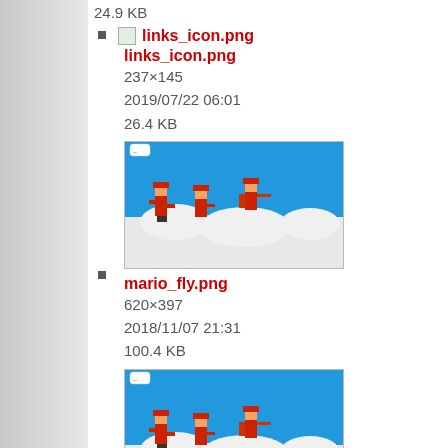24.9 KB
links_icon.png
237×145
2019/07/22 06:01
26.4 KB
mario_fly.png
620×397
2018/11/07 21:31
100.4 KB
mariofly.png
1033×661
2018/11/07 21:31
199 KB